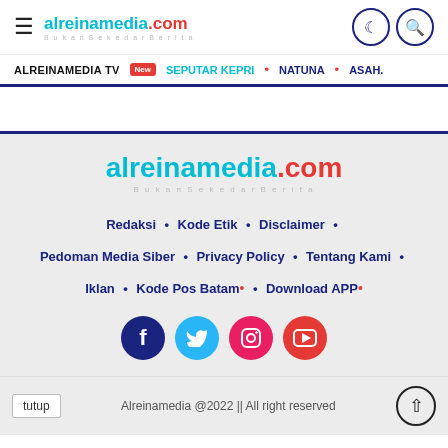alreinamedia.com
ALREINAMEDIA TV New | SEPUTAR KEPRI • | NATUNA • | ASAH.
[Figure (screenshot): Website footer area with logo, navigation links, social media icons, and copyright bar]
tutup | Alreinamedia @2022 || All right reserved